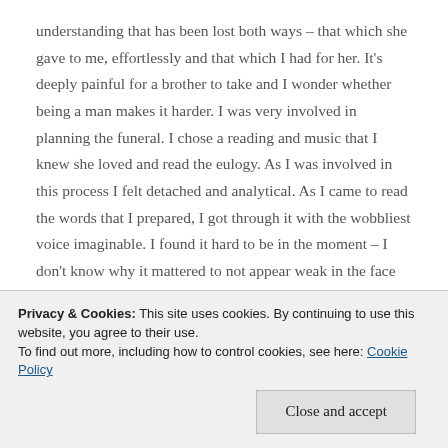understanding that has been lost both ways – that which she gave to me, effortlessly and that which I had for her. It's deeply painful for a brother to take and I wonder whether being a man makes it harder. I was very involved in planning the funeral. I chose a reading and music that I knew she loved and read the eulogy. As I was involved in this process I felt detached and analytical. As I came to read the words that I prepared, I got through it with the wobbliest voice imaginable. I found it hard to be in the moment – I don't know why it mattered to not appear weak in the face of extremely
Privacy & Cookies: This site uses cookies. By continuing to use this website, you agree to their use. To find out more, including how to control cookies, see here: Cookie Policy
Close and accept